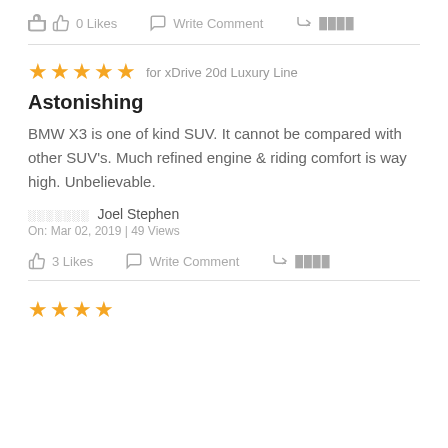0 Likes   Write Comment   ████
★★★★★ for xDrive 20d Luxury Line
Astonishing
BMW X3 is one of kind SUV. It cannot be compared with other SUV's. Much refined engine & riding comfort is way high. Unbelievable.
░░░░░░░ Joel Stephen
On: Mar 02, 2019 | 49 Views
3 Likes   Write Comment   ████
★★★★